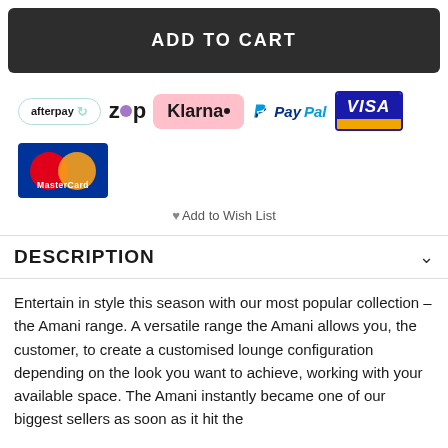ADD TO CART
[Figure (logo): Payment method logos: Afterpay, Zip, Klarna, PayPal, Visa, MasterCard]
Add to Wish List
DESCRIPTION
Entertain in style this season with our most popular collection – the Amani range. A versatile range the Amani allows you, the customer, to create a customised lounge configuration depending on the look you want to achieve, working with your available space. The Amani instantly became one of our biggest sellers as soon as it hit the